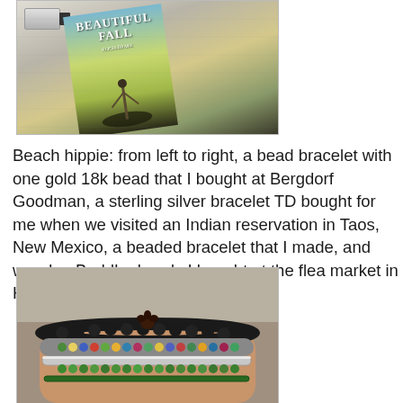[Figure (photo): A book titled 'Beautiful Fall' lying on a light fabric surface next to what appears to be a USB drive or small device. The book has a yellow-green and blue cover.]
Beach hippie: from left to right, a bead bracelet with one gold 18k bead that I bought at Bergdorf Goodman, a sterling silver bracelet TD bought for me when we visited an Indian reservation in Taos, New Mexico, a beaded bracelet that I made, and wooden Buddha beads I bought at the flea market in Hell's Kitchen.
[Figure (photo): A wrist wearing multiple stacked bracelets including black lava bead bracelet, colorful beaded bracelets, a silver bracelet, and green beaded bracelets.]